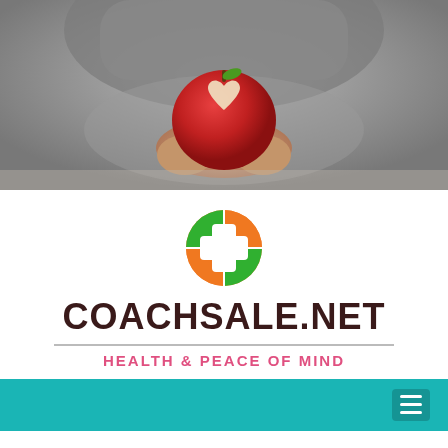[Figure (photo): Person in gray sweater holding a red apple with a heart shape cut into it, photographed from the torso down against a gray background]
[Figure (logo): CoachSale.net logo: circular icon with green and orange quadrants and white cross in center, followed by bold dark text COACHSALE.NET, a horizontal divider line, and the tagline HEALTH & PEACE OF MIND in pink]
[Figure (other): Teal navigation bar with hamburger menu icon on the right]
Healthcare in the United States: The top five issues you need to